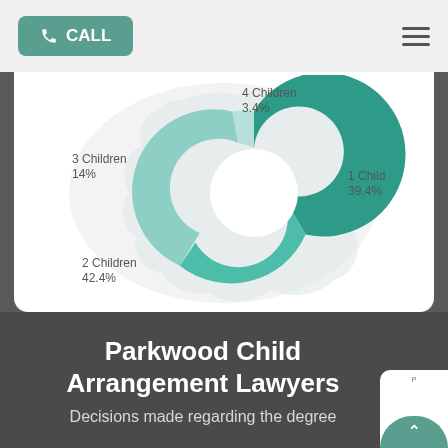[Figure (other): Navigation bar with green CALL button and hamburger menu]
[Figure (donut-chart): Number of Children in Arrangements]
Parkwood Child Arrangement Lawyers
Decisions made regarding the degree